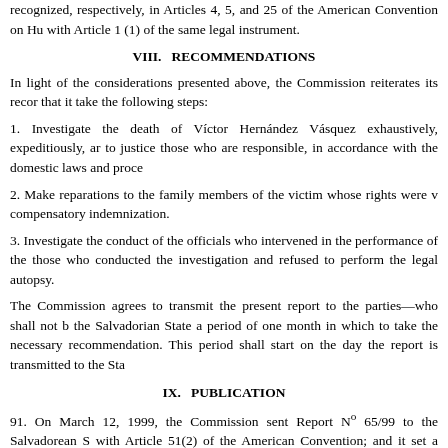recognized, respectively, in Articles 4, 5, and 25 of the American Convention on Human Rights, in conjunction with Article 1 (1) of the same legal instrument.
VIII. RECOMMENDATIONS
In light of the considerations presented above, the Commission reiterates its recommendations and requests that it take the following steps:
1. Investigate the death of Víctor Hernández Vásquez exhaustively, expeditiously, and impartially, and bring to justice those who are responsible, in accordance with the domestic laws and procedures in force.
2. Make reparations to the family members of the victim whose rights were violated, including compensatory indemnization.
3. Investigate the conduct of the officials who intervened in the performance of the autopsy, specifically those who conducted the investigation and refused to perform the legal autopsy.
The Commission agrees to transmit the present report to the parties—who shall not be authorized to publish it—and the Salvadorian State a period of one month in which to take the necessary steps to comply with the recommendation. This period shall start on the day the report is transmitted to the State.
IX. PUBLICATION
91. On March 12, 1999, the Commission sent Report Nº 65/99 to the Salvadorean State, in compliance with Article 51(2) of the American Convention; and it set a deadline of one month for implementing the foregoing recommendations. The State failed to present a response within the time limit established.
92. Accordingly, and pursuant to Articles 51(3) of the American Convention and 48 of the Regulations, the Commission decides: to reiterate the conclusions and recommendations contained in this report; to include it in the Commission's Annual Report to the General Assembly of the OAS. Pursuant to the provisions contained in the